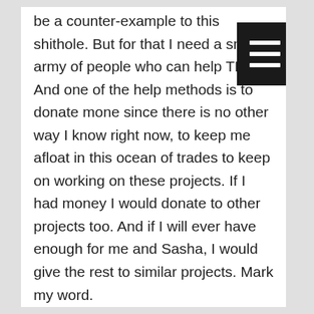be a counter-example to this shithole. But for that I need a small army of people who can help TRO And one of the help methods is to donate mone since there is no other way I know right now, to keep me afloat in this ocean of trades to keep on working on these projects. If I had money I would donate to other projects too. And if I will ever have enough for me and Sasha, I would give the rest to similar projects. Mark my word.
I hate drama and emotional situations. I do not cry or scream. So whenever I'll complain about my personal financial situation, it is more of a peer-reviewed paper of my situation than anything else. You have to take care of your emotions and not let yourself to sadden by my blog posts. And if you do, remember is not like I wanted that. And for sure, is